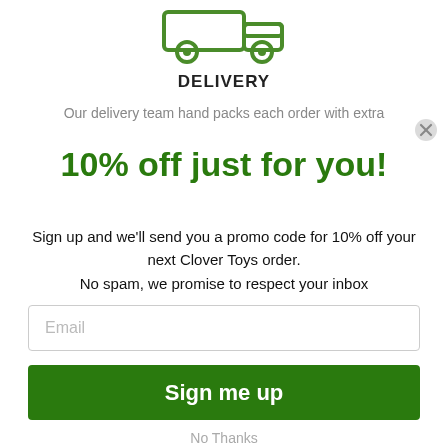[Figure (illustration): Green outline icon of a delivery truck]
DELIVERY
Our delivery team hand packs each order with extra
10% off just for you!
Sign up and we'll send you a promo code for 10% off your next Clover Toys order.
No spam, we promise to respect your inbox
Email
Sign me up
No Thanks